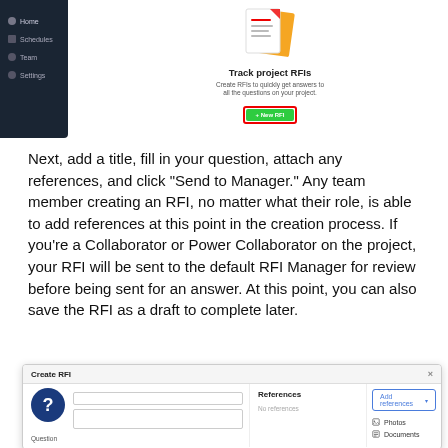[Figure (screenshot): Application screenshot showing a dark sidebar navigation with items (Home, Schedules, Team, Settings) on the left, and a centered 'Track project RFIs' onboarding prompt with icon, description text, and a green 'New RFI' button highlighted with a red border.]
Next, add a title, fill in your question, attach any references, and click “Send to Manager.” Any team member creating an RFI, no matter what their role, is able to add references at this point in the creation process. If you’re a Collaborator or Power Collaborator on the project, your RFI will be sent to the default RFI Manager for review before being sent for an answer. At this point, you can also save the RFI as a draft to complete later.
[Figure (screenshot): Screenshot of a 'Create RFI' dialog box showing a form with a help/question icon, title input field, question label, References section with 'No references' text, and an 'Add references' dropdown button with options for Photos and Documents.]